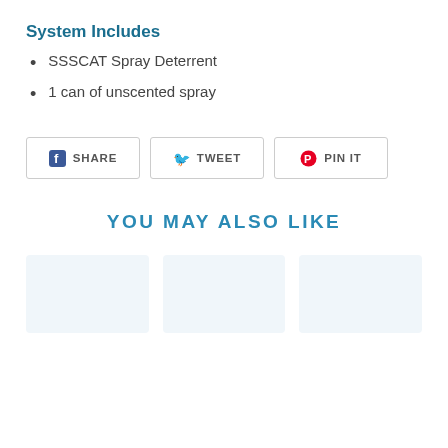System Includes
SSSCAT Spray Deterrent
1 can of unscented spray
[Figure (other): Social share buttons: Facebook SHARE, Twitter TWEET, Pinterest PIN IT]
YOU MAY ALSO LIKE
[Figure (other): Product placeholder boxes below YOU MAY ALSO LIKE heading]